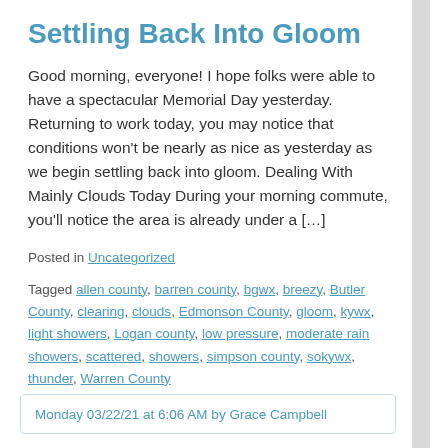Settling Back Into Gloom
Good morning, everyone! I hope folks were able to have a spectacular Memorial Day yesterday. Returning to work today, you may notice that conditions won't be nearly as nice as yesterday as we begin settling back into gloom. Dealing With Mainly Clouds Today During your morning commute, you'll notice the area is already under a […]
Posted in Uncategorized
Tagged allen county, barren county, bgwx, breezy, Butler County, clearing, clouds, Edmonson County, gloom, kywx, light showers, Logan county, low pressure, moderate rain showers, scattered, showers, simpson county, sokywx, thunder, Warren County
Monday 03/22/21 at 6:06 AM by Grace Campbell